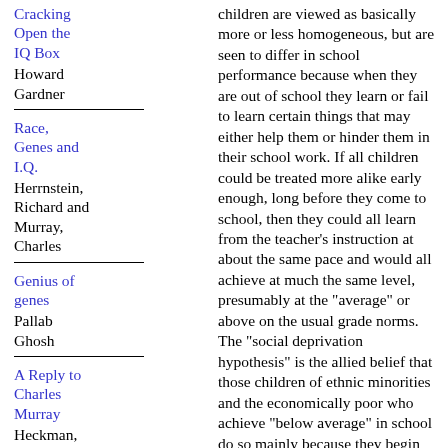Cracking Open the IQ Box
Howard Gardner
Race, Genes and I.Q.
Herrnstein, Richard and Murray, Charles
Genius of genes
Pallab Ghosh
A Reply to Charles Murray
Heckman, James J.;
children are viewed as basically more or less homogeneous, but are seen to differ in school performance because when they are out of school they learn or fail to learn certain things that may either help them or hinder them in their school work. If all children could be treated more alike early enough, long before they come to school, then they could all learn from the teacher's instruction at about the same pace and would all achieve at much the same level, presumably at the "average" or above on the usual grade norms. The "social deprivation hypothesis" is the allied belief that those children of ethnic minorities and the economically poor who achieve "below average" in school do so mainly because they begin school lacking certain crucial experiences